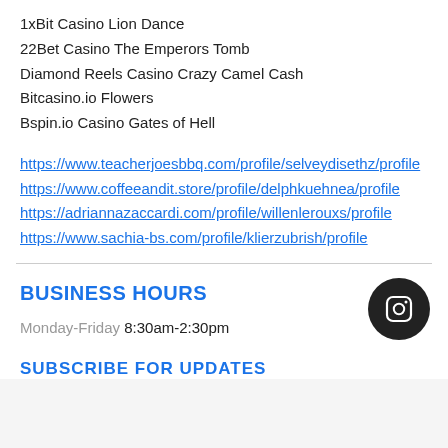1xBit Casino Lion Dance
22Bet Casino The Emperors Tomb
Diamond Reels Casino Crazy Camel Cash
Bitcasino.io Flowers
Bspin.io Casino Gates of Hell
https://www.teacherjoesbbq.com/profile/selveydisethz/profile
https://www.coffeeandit.store/profile/delphkuehnea/profile
https://adriannazaccardi.com/profile/willenlerouxs/profile
https://www.sachia-bs.com/profile/klierzubrish/profile
BUSINESS HOURS
Monday-Friday 8:30am-2:30pm
SUBSCRIBE FOR UPDATES